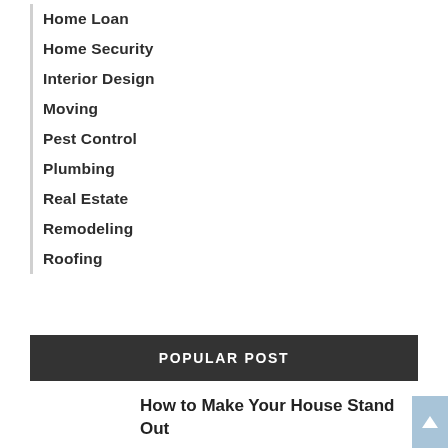Home Loan
Home Security
Interior Design
Moving
Pest Control
Plumbing
Real Estate
Remodeling
Roofing
POPULAR POST
How to Make Your House Stand Out